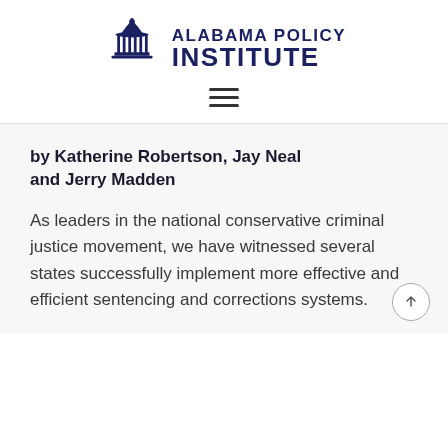[Figure (logo): Alabama Policy Institute logo with capitol dome icon and bold text reading ALABAMA POLICY INSTITUTE]
[Figure (other): Hamburger menu icon with three horizontal lines]
by Katherine Robertson, Jay Neal and Jerry Madden
As leaders in the national conservative criminal justice movement, we have witnessed several states successfully implement more effective and efficient sentencing and corrections systems.